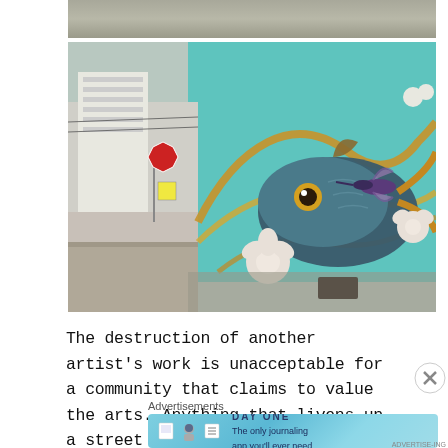[Figure (photo): Top partial photo showing outdoor scene with greenery and light]
[Figure (photo): Street corner photo showing a large colorful mural on a teal wall featuring a fish, hummingbird, golden swirls, and flowers; street scene with buildings and signs visible on the left]
The destruction of another artist's work is unacceptable for a community that claims to value the arts. Anything that livens up a street corner is a
[Figure (illustration): Close (X) button circle]
Advertisements
[Figure (infographic): Day One journaling app advertisement banner with icons and text: 'The only journaling app you'll ever need.']